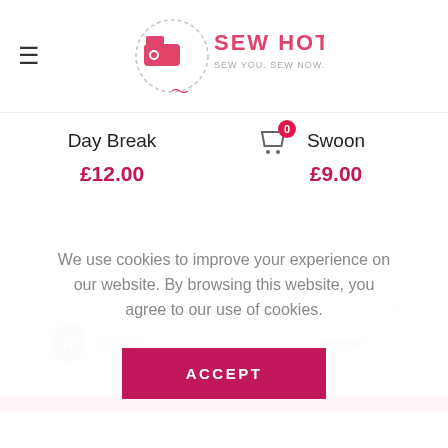Sew Hot — sew you. sew now.
Day Break
£12.00
Swoon
£9.00
[Figure (logo): Windham Fabrics logo with circular W mark and text]
[Figure (logo): Second brand logo in a square border with grey text]
We use cookies to improve your experience on our website. By browsing this website, you agree to our use of cookies.
ACCEPT